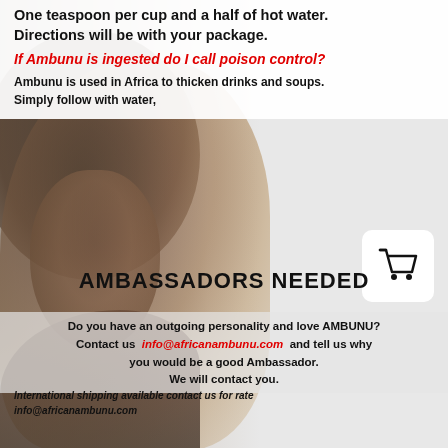One teaspoon per cup and a half of hot water. Directions will be with your package.
If Ambunu is ingested do I call poison control?
Ambunu is used in Africa to thicken drinks and soups. Simply follow with water,
[Figure (illustration): Shopping cart icon in white rounded box]
AMBASSADORS NEEDED
Do you have an outgoing personality and love AMBUNU? Contact us info@africanambunu.com and tell us why you would be a good Ambassador. We will contact you.
International shipping available contact us for rate info@africanambunu.com